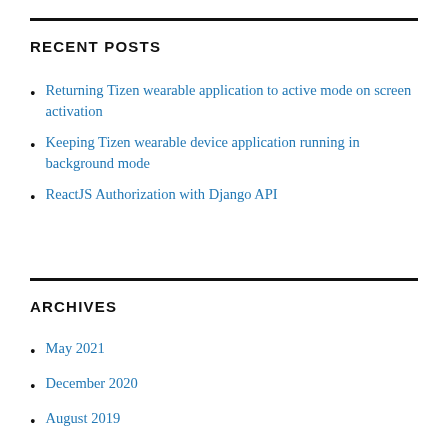RECENT POSTS
Returning Tizen wearable application to active mode on screen activation
Keeping Tizen wearable device application running in background mode
ReactJS Authorization with Django API
ARCHIVES
May 2021
December 2020
August 2019